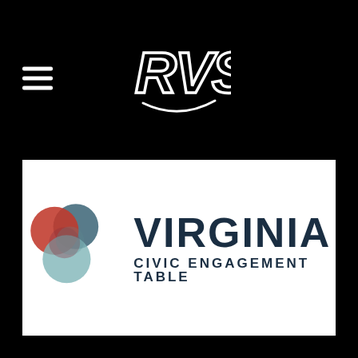[Figure (logo): RVS stylized logo in white on black background, navigation header]
[Figure (logo): Virginia Civic Engagement Table logo with overlapping colored circles (red, dark teal, light teal) and bold dark navy text reading VIRGINIA CIVIC ENGAGEMENT TABLE]